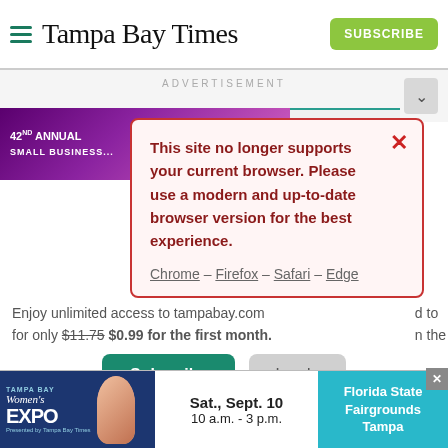Tampa Bay Times
ADVERTISEMENT
[Figure (screenshot): Purple banner advertisement: 42nd Annual event, SEP. 29]
[Figure (screenshot): Modal dialog: This site no longer supports your current browser. Please use a modern and up-to-date browser version for the best experience. Chrome – Firefox – Safari – Edge]
Enjoy unlimited access to tampabay.com for only $11.75 $0.99 for the first month.
Subscribe | Log In
Interested in print delivery? Subscribe here →
[Figure (advertisement): Tampa Bay Women's Expo ad. Sat., Sept. 10, 10 a.m. – 3 p.m. Florida State Fairgrounds Tampa]